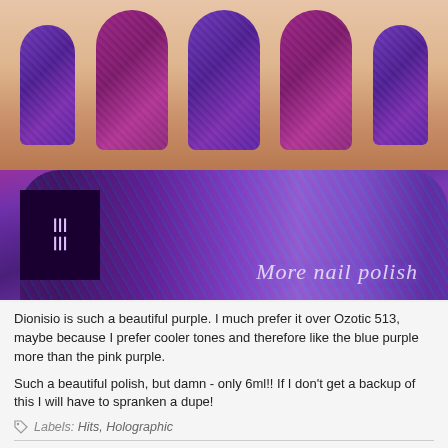[Figure (photo): Close-up photo of holographic purple nail polish on fingers, with a nail polish bottle in the foreground. The bottle has a black label and shows holographic shimmer. Text 'More nail polish' is written on the bottle.]
Dionisio is such a beautiful purple. I much prefer it over Ozotic 513, maybe because I prefer cooler tones and therefore like the blue purple more than the pink purple.

Such a beautiful polish, but damn - only 6ml!! If I don't get a backup of this I will have to spranken a dupe!
Labels: Hits, Holographic
17 COMMENTS: